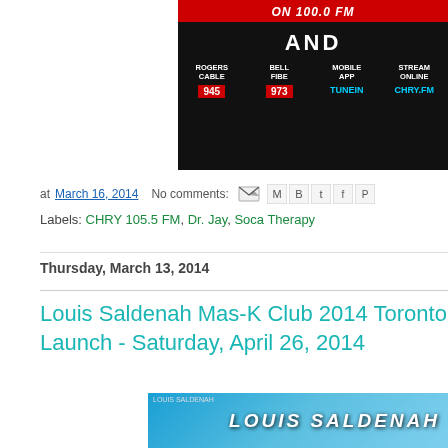[Figure (photo): CHRY radio station banner ad showing Rogers Cable 945, Bell Fibe 973, Mobile App TuneIn, Stream Online CHRY.FM on black background with red accents]
at March 16, 2014   No comments:
Labels: CHRY 105.5 FM, Dr. Jay, Soca Therapy
Thursday, March 13, 2014
Louis Saldenah Mas-K Club 2014 Toronto Launch - Saturday, April 26, 2014
[Figure (photo): Louis Saldenah event banner image, partially visible at bottom of page]